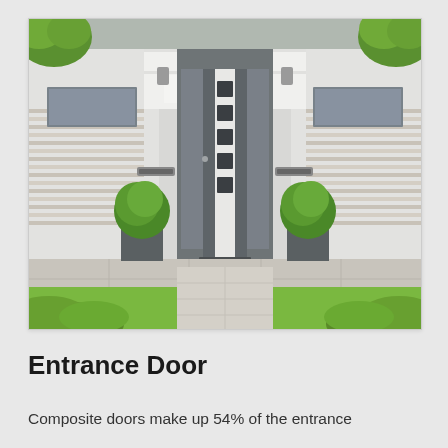[Figure (photo): Exterior photograph of a modern home entrance featuring a grey composite door with vertical glass panel insets showing square dark windows, flanked by two round boxwood topiary plants in dark grey square planters. The house facade is white with horizontal wooden cladding panels on the sides. House number 28 is visible above a wall-mounted light. Two green trees frame the upper corners of the image. A stone paved pathway leads to the door.]
Entrance Door
Composite doors make up 54% of the entrance